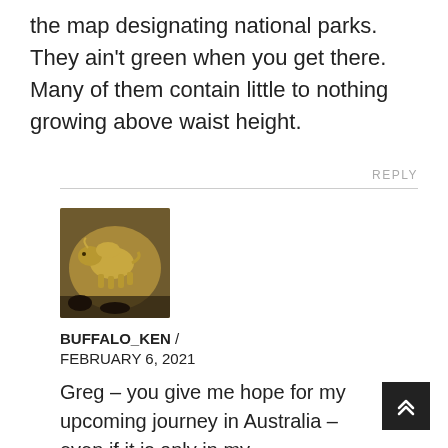the map designating national parks. They ain't green when you get there. Many of them contain little to nothing growing above waist height.
REPLY
[Figure (photo): Profile avatar image showing a bison/buffalo coin in gold tones]
BUFFALO_KEN / FEBRUARY 6, 2021
Greg – you give me hope for my upcoming journey in Australia – even if it is only in my imagination. If I got lost somewhere or there was a bunch of water flowing into the